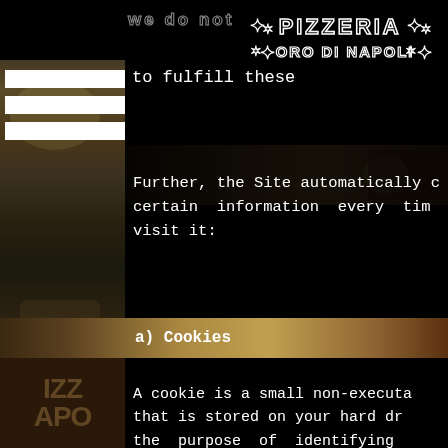[Figure (screenshot): Pizzeria Oro Di Napoli website page showing privacy policy content about cookies, with restaurant logo top right and food photography background]
we do not re
[Figure (logo): Pizzeria Oro Di Napoli logo with decorative flourishes]
to fulfill these
Further, the Site automatically c certain information every tim visit it:
a) Cookies
A cookie is a small non-executa that is stored on your hard dr the purpose of identifying computer. While it is possible t and to acquire products and s from the site with your br